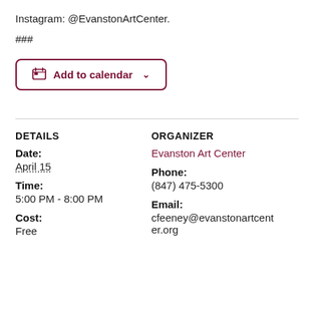Instagram: @EvanstonArtCenter.
###
Add to calendar
DETAILS
Date:
April 15
Time:
5:00 PM - 8:00 PM
Cost:
Free
ORGANIZER
Evanston Art Center
Phone:
(847) 475-5300
Email:
cfeeney@evanstonartcenter.org